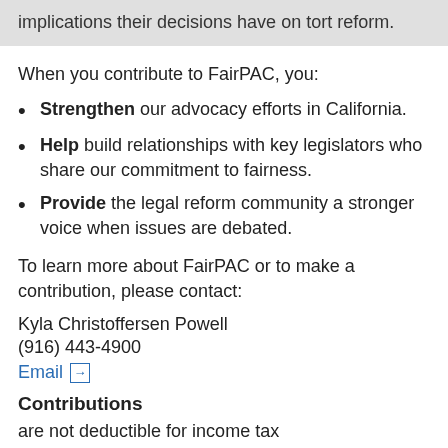implications their decisions have on tort reform.
When you contribute to FairPAC, you:
Strengthen our advocacy efforts in California.
Help build relationships with key legislators who share our commitment to fairness.
Provide the legal reform community a stronger voice when issues are debated.
To learn more about FairPAC or to make a contribution, please contact:
Kyla Christoffersen Powell
(916) 443-4900
Email
Contributions
are not deductible for income tax